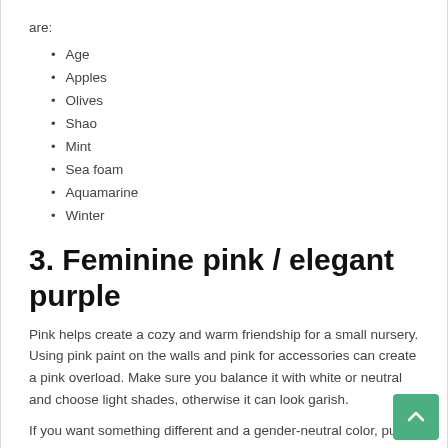are:
Age
Apples
Olives
Shao
Mint
Sea foam
Aquamarine
Winter
3. Feminine pink / elegant purple
Pink helps create a cozy and warm friendship for a small nursery. Using pink paint on the walls and pink for accessories can create a pink overload. Make sure you balance it with white or neutral and choose light shades, otherwise it can look garish.
If you want something different and a gender-neutral color, purple can work for either gender. Although purple baby is not a common choice for kindergarten ideas, it has become more popular lately. The right shade of purple, which has long been associated with kings, can transform